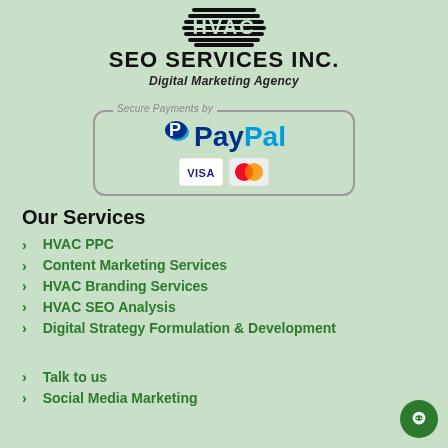[Figure (logo): HVAC SEO Services Inc. logo with geometric stripe pattern at top]
SEO SERVICES INC.
Digital Marketing Agency
[Figure (logo): Secure Payments by PayPal badge with Visa and Mastercard icons]
Our Services
HVAC PPC
Content Marketing Services
HVAC Branding Services
HVAC SEO Analysis
Digital Strategy Formulation & Development
Talk to us
Social Media Marketing